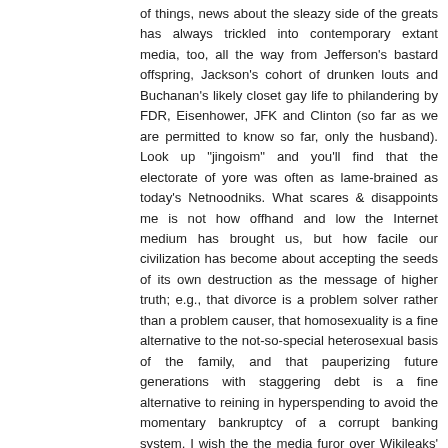of things, news about the sleazy side of the greats has always trickled into contemporary extant media, too, all the way from Jefferson's bastard offspring, Jackson's cohort of drunken louts and Buchanan's likely closet gay life to philandering by FDR, Eisenhower, JFK and Clinton (so far as we are permitted to know so far, only the husband). Look up "jingoism" and you'll find that the electorate of yore was often as lame-brained as today's Netnoodniks. What scares & disappoints me is not how offhand and low the Internet medium has brought us, but how facile our civilization has become about accepting the seeds of its own destruction as the message of higher truth; e.g., that divorce is a problem solver rather than a problem causer, that homosexuality is a fine alternative to the not-so-special heterosexual basis of the family, and that pauperizing future generations with staggering debt is a fine alternative to reining in hyperspending to avoid the momentary bankruptcy of a corrupt banking system. I wish the the media furor over Wikileaks' blowing confidential or secret government cables were matched one tenth as much by complaints about the impenetrable veil of secrecy about who got what & why during the multi-trillion dollar "bailout".